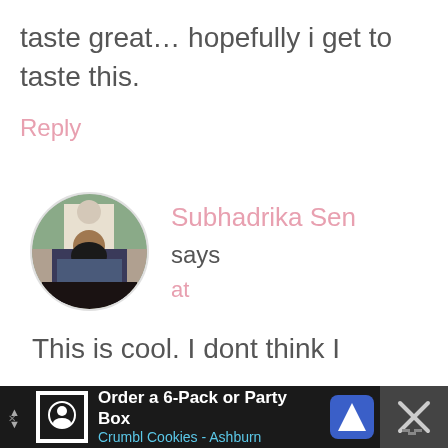taste great… hopefully i get to taste this.
Reply
[Figure (photo): Circular avatar photo of Subhadrika Sen, showing a person meditating outdoors with a statue visible behind them]
Subhadrika Sen says at
This is cool. I dont think I
[Figure (infographic): Advertisement banner for Crumbl Cookies - Ashburn: 'Order a 6-Pack or Party Box Crumbl Cookies - Ashburn' with close button]